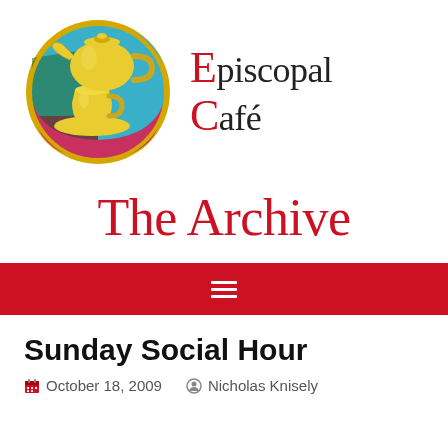[Figure (logo): Episcopal Café logo: circular emblem with a yellow teapot and teacup on colorful stained-glass-style background with gold border, next to text reading 'Episcopal Café']
The Archive
Sunday Social Hour
October 18, 2009   Nicholas Knisely